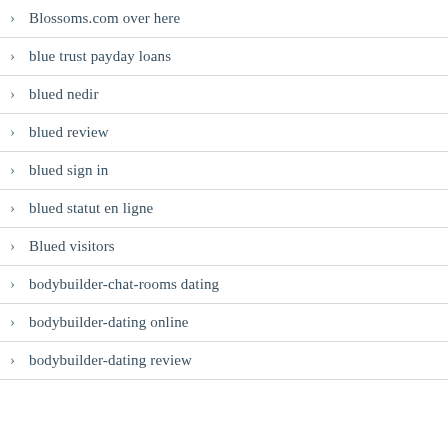Blossoms.com over here
blue trust payday loans
blued nedir
blued review
blued sign in
blued statut en ligne
Blued visitors
bodybuilder-chat-rooms dating
bodybuilder-dating online
bodybuilder-dating review